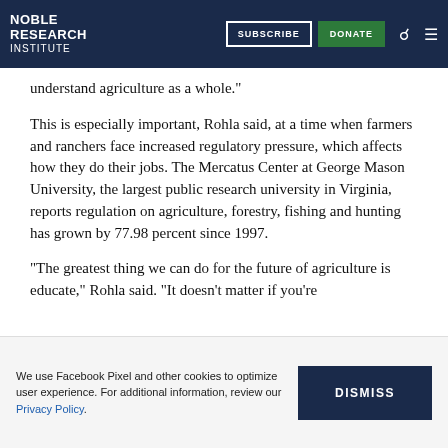Noble Research Institute — SUBSCRIBE | DONATE
understand agriculture as a whole."
This is especially important, Rohla said, at a time when farmers and ranchers face increased regulatory pressure, which affects how they do their jobs. The Mercatus Center at George Mason University, the largest public research university in Virginia, reports regulation on agriculture, forestry, fishing and hunting has grown by 77.98 percent since 1997.
"The greatest thing we can do for the future of agriculture is educate," Rohla said. "It doesn't matter if you're
We use Facebook Pixel and other cookies to optimize user experience. For additional information, review our Privacy Policy. DISMISS